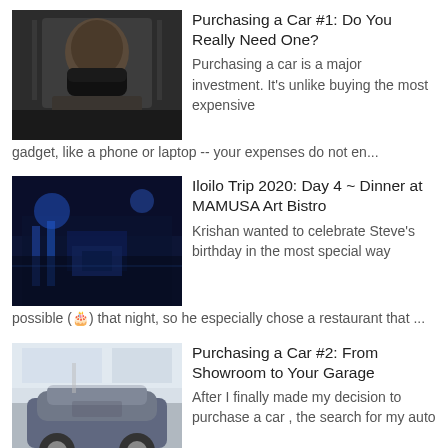[Figure (photo): Photo of a person wearing a black face mask, dark clothing]
Purchasing a Car #1: Do You Really Need One?
Purchasing a car is a major investment. It's unlike buying the most expensive gadget, like a phone or laptop -- your expenses do not en...
[Figure (photo): Photo of a restaurant interior with blue lighting, MAMUSA Art Bistro]
Iloilo Trip 2020: Day 4 ~ Dinner at MAMUSA Art Bistro
Krishan wanted to celebrate Steve's birthday in the most special way possible (🎂) that night, so he especially chose a restaurant that ...
[Figure (photo): Photo of a car in a showroom setting]
Purchasing a Car #2: From Showroom to Your Garage
After I finally made my decision to purchase a car , the search for my auto began. I was actually already looking at various car